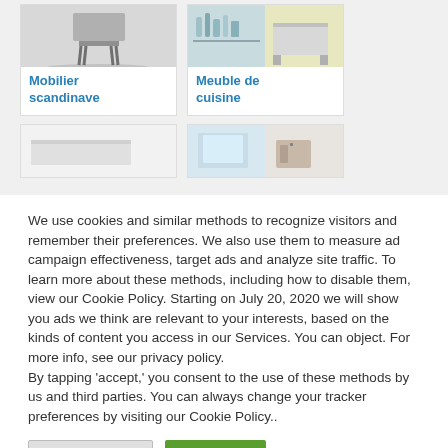[Figure (photo): Card showing Scandinavian furniture (chair with black legs on white floor)]
Mobilier scandinave
[Figure (photo): Card showing kitchen furniture with bathroom/kitchen items on shelves]
Meuble de cuisine
[Figure (photo): Partially visible card with blank white image]
[Figure (photo): Partially visible card with bathroom/furniture image]
We use cookies and similar methods to recognize visitors and remember their preferences. We also use them to measure ad campaign effectiveness, target ads and analyze site traffic. To learn more about these methods, including how to disable them, view our Cookie Policy. Starting on July 20, 2020 we will show you ads we think are relevant to your interests, based on the kinds of content you access in our Services. You can object. For more info, see our privacy policy.
By tapping ‘accept,’ you consent to the use of these methods by us and third parties. You can always change your tracker preferences by visiting our Cookie Policy..
Cookie Settings
Accept All